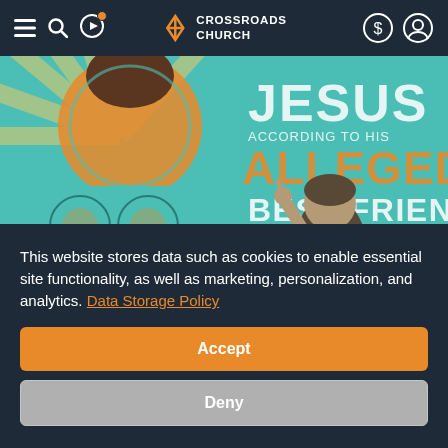Crossroads Church navigation bar with menu, search, play icons on left; Crossroads Church logo in center; account/giving icons on right
[Figure (illustration): Illustrated promotional image for 'Jesus According to His Alleged Best Friend' series with 'The Bible Challenge' branding. Colorful teal, orange, and brown graphic design showing a person pointing upward surrounded by decorative mandala patterns and radiating sunburst design.]
This website stores data such as cookies to enable essential site functionality, as well as marketing, personalization, and analytics. Data Storage Policy
Accept
Deny